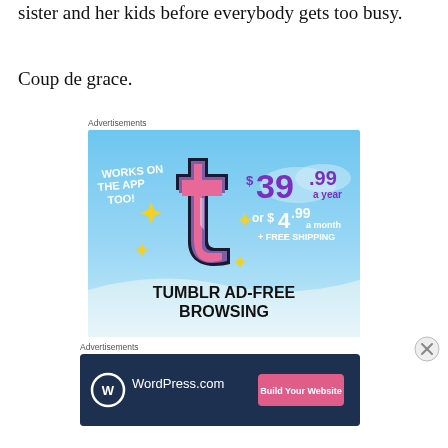sister and her kids before everybody gets too busy.
Coup de grace.
Advertisements
[Figure (illustration): Tumblr ad-free browsing advertisement. Blue sky background with Tumblr 't' logo in pink/purple. Text: WORKS ON THE APP TOO!, $39.99 a year or $4.99 a month + FREE SHIPPING, TUMBLR AD-FREE BROWSING]
Advertisements
[Figure (illustration): WordPress.com advertisement banner. Dark blue background with WordPress logo and text 'WordPress.com', pink button 'Build Your Website']